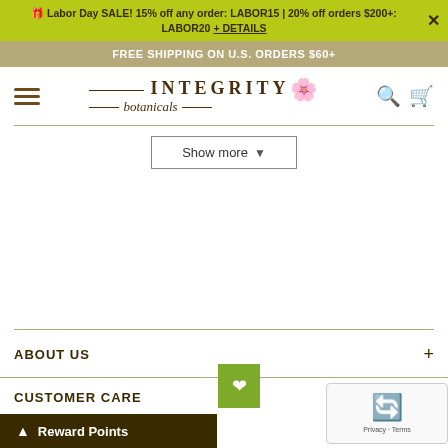🎁 Labor Day SALE! 15% off any order: LABOR15 | 20% off orders $200+: LABOR20 + DETAILS
FREE SHIPPING ON U.S. ORDERS $60+
[Figure (logo): Integrity Botanicals logo with decorative flower and script text]
Show more ▼
ABOUT US
CUSTOMER CARE
Reward Points
[Figure (other): reCAPTCHA widget with privacy and terms links]